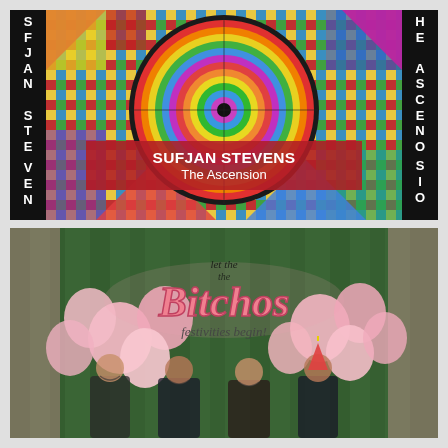[Figure (illustration): Album cover art for Sufjan Stevens - The Ascension. Features a colorful psychedelic pattern with concentric multicolored circles on a geometric grid background. Black vertical strips on left and right sides show fragmented text 'SUFJAN STE' and 'THE ASCENO'. A red semi-transparent banner overlaid in the lower center reads 'SUFJAN STEVENS' in bold white and 'The Ascension' below it.]
[Figure (photo): Album cover art for Las Bitchos - Let the Festivities Begin! Shows four women in front of a green curtain backdrop surrounded by pink balloons. A large retro-style pink logo reads 'las bitchos let the festivities begin!' The women are smiling and celebrating, one wearing a party hat.]